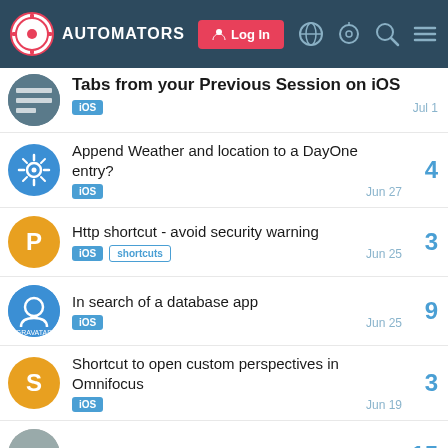AUTOMATORS — Log In
Tabs from your Previous Session on iOS — iOS — Jul 1
Append Weather and location to a DayOne entry? — iOS — Jun 27 — 4 replies
Http shortcut - avoid security warning — iOS, shortcuts — Jun 25 — 3 replies
In search of a database app — iOS — Jun 25 — 9 replies
Shortcut to open custom perspectives in Omnifocus — iOS — Jun 19 — 3 replies
Deleting Alarms in Shortcuts — 15 replies